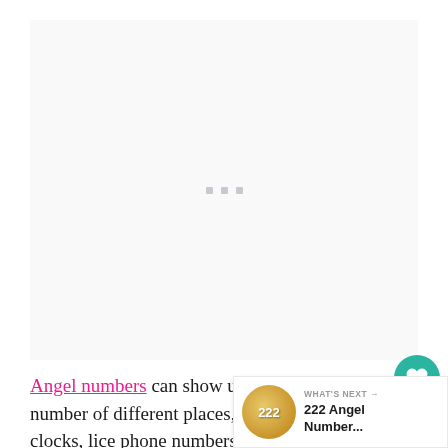[Figure (other): Advertisement placeholder area with three small gray dots centered in a light gray box]
Angel numbers can show up in a number of different places, including on clocks, lice... phone numbers, receipts, and even in t... our palms.
[Figure (infographic): Social interaction UI: teal heart like button showing count of 5, and a share button below it. A 'What's Next' panel in bottom right shows a circular thumbnail with '222' text and label '222 Angel Number...']